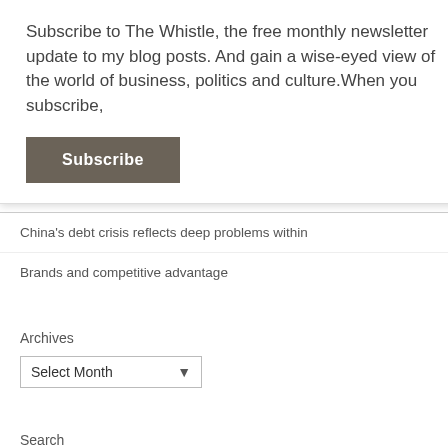Subscribe to The Whistle, the free monthly newsletter update to my blog posts. And gain a wise-eyed view of the world of business, politics and culture.When you subscribe,
Subscribe
×
China's debt crisis reflects deep problems within
Brands and competitive advantage
Archives
Select Month
Search
Search ...